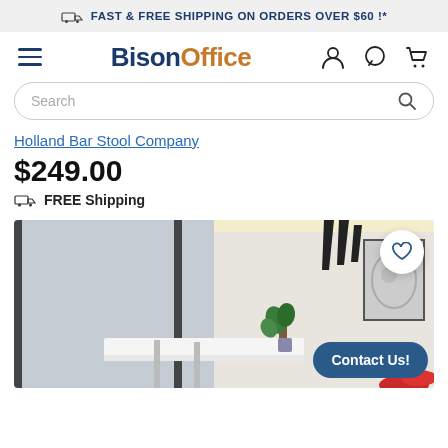FAST & FREE SHIPPING ON ORDERS OVER $60 !*
[Figure (screenshot): BisonOffice navigation bar with hamburger menu, logo, user icon, chat icon, and cart icon]
Search
Holland Bar Stool Company
$249.00
FREE Shipping
[Figure (photo): Product lifestyle photo showing a modern room interior with bar stools on white marble surface, pendant lights, abstract wall art, and a plant]
Contact Us!